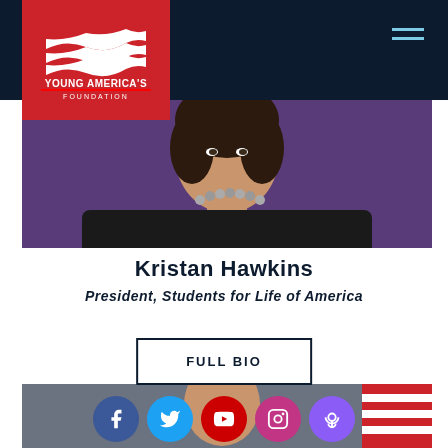[Figure (photo): Young America's Foundation logo on red background in top navigation bar]
[Figure (photo): Portrait photo of Kristan Hawkins wearing black outfit and beaded necklace, purple background]
Kristan Hawkins
President, Students for Life of America
FULL BIO
[Figure (photo): Partial portrait of another speaker with American flag background]
[Figure (infographic): Social media icons row: Facebook, Twitter, YouTube, Instagram, Podcast]